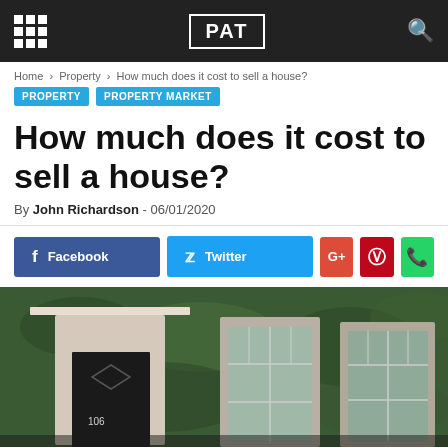PAT
Home › Property › How much does it cost to sell a house?
PROPERTY   PROPERTY MARKET
How much does it cost to sell a house?
By John Richardson - 06/01/2020
[Figure (screenshot): Social sharing buttons: Facebook, Twitter, Google+, Pinterest, WhatsApp]
[Figure (photo): Photo of house fronts with ivy-covered walls. Two white-framed doors visible, number 106 on one door. A lantern light between doors.]